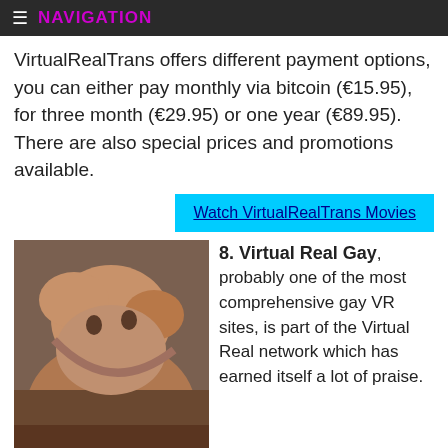NAVIGATION
VirtualRealTrans offers different payment options, you can either pay monthly via bitcoin (€15.95), for three month (€29.95) or one year (€89.95). There are also special prices and promotions available.
Watch VirtualRealTrans Movies
[Figure (photo): Photo of two men in an intimate pose]
8. Virtual Real Gay, probably one of the most comprehensive gay VR sites, is part of the Virtual Real network which has earned itself a lot of praise.
You can also download trailers for your Smartphone here, and though they don't have headset-specific downloads, you are getting some high def quality videos here that are long enough to give you that perfect build.